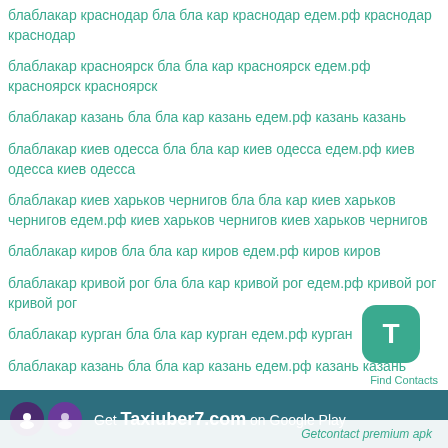блаблакар краснодар бла бла кар краснодар едем.рф краснодар краснодар
блаблакар красноярск бла бла кар красноярск едем.рф красноярск красноярск
блаблакар казань бла бла кар казань едем.рф казань казань
блаблакар киев одесса бла бла кар киев одесса едем.рф киев одесса киев одесса
блаблакар киев харьков чернигов бла бла кар киев харьков чернигов едем.рф киев харьков чернигов киев харьков чернигов
блаблакар киров бла бла кар киров едем.рф киров киров
блаблакар кривой рог бла бла кар кривой рог едем.рф кривой рог кривой рог
блаблакар курган бла бла кар курган едем.рф курган н
блаблакар казань бла бла кар казань едем.рф казань казань
Get Taxiuber7.com on Google Play
Find Contacts
Getcontact premium apk